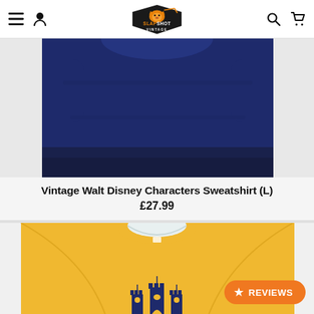Slapshot Vintage — navigation header with menu, user, logo, search, cart icons
[Figure (photo): Partial view of a navy/dark blue vintage sweatshirt from above, cropped at the bottom]
Vintage Walt Disney Characters Sweatshirt (L)
£27.99
[Figure (photo): Yellow vintage sweatshirt with a blue Cinderella castle graphic, photographed from the front/collar area]